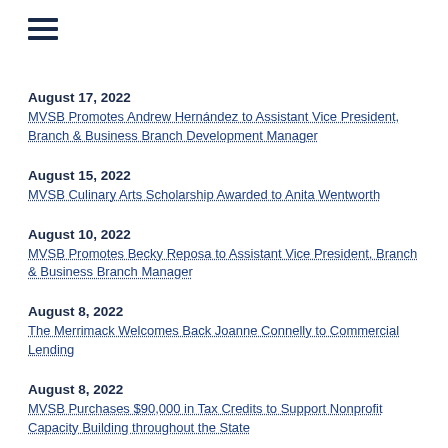[Figure (other): Hamburger menu icon with three horizontal lines]
August 17, 2022
MVSB Promotes Andrew Hernández to Assistant Vice President, Branch & Business Branch Development Manager
August 15, 2022
MVSB Culinary Arts Scholarship Awarded to Anita Wentworth
August 10, 2022
MVSB Promotes Becky Reposa to Assistant Vice President, Branch & Business Branch Manager
August 8, 2022
The Merrimack Welcomes Back Joanne Connelly to Commercial Lending
August 8, 2022
MVSB Purchases $90,000 in Tax Credits to Support Nonprofit Capacity Building throughout the State